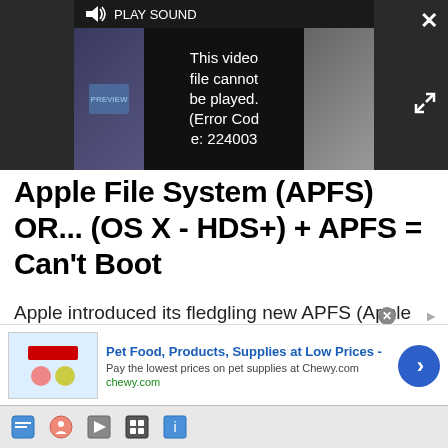[Figure (screenshot): Video player overlay showing error message 'This video file cannot be played. (Error Code: 224003)' with PLAY SOUND button and close/expand controls]
Apple File System (APFS) OR... (OS X - HDS+) + APFS = Can't Boot
Apple introduced its fledgling new APFS (Apple File System) with much aplomb during its WWDC event. Apple touts the new filesystem as its first major upgrade since the HFS+ launch in 1998, which upgraded the original HFS filesystem that debuted in 1985. The slow pace of file system development is hardly new; Microsoft introduced NTFS, the primary
[Figure (screenshot): Advertisement banner: Pet Food, Products, Supplies at Low Prices - chewy.com]
[Figure (screenshot): Browser bottom toolbar with navigation icons]